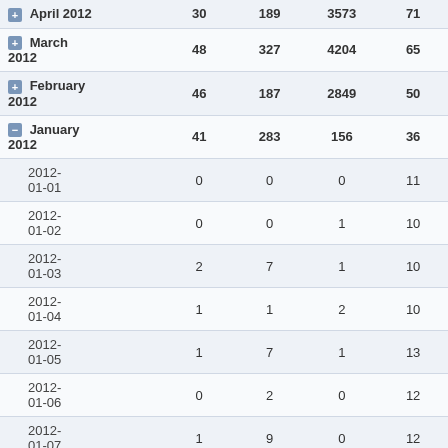|  |  |  |  |  |
| --- | --- | --- | --- | --- |
| April 2012 | 30 | 189 | 3573 | 71 |
| March 2012 | 48 | 327 | 4204 | 65 |
| February 2012 | 46 | 187 | 2849 | 50 |
| January 2012 | 41 | 283 | 156 | 36 |
| 2012-01-01 | 0 | 0 | 0 | 11 |
| 2012-01-02 | 0 | 0 | 1 | 10 |
| 2012-01-03 | 2 | 7 | 1 | 10 |
| 2012-01-04 | 1 | 1 | 2 | 10 |
| 2012-01-05 | 1 | 7 | 1 | 13 |
| 2012-01-06 | 0 | 2 | 0 | 12 |
| 2012-01-07 | 1 | 9 | 0 | 12 |
| 2012-01-08 | 1 | 10 | 0 | 13 |
| 2012-01-09 | 1 | 5 | 3 | 13 |
| 2012-01-10 | 1 | 5 | 2 | 11 |